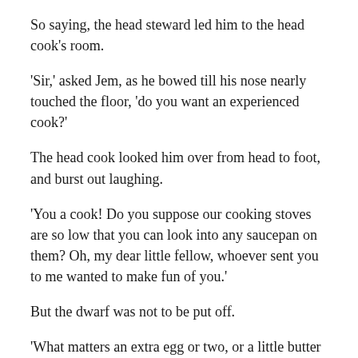So saying, the head steward led him to the head cook’s room.
‘Sir,’ asked Jem, as he bowed till his nose nearly touched the floor, ‘do you want an experienced cook?’
The head cook looked him over from head to foot, and burst out laughing.
‘You a cook! Do you suppose our cooking stoves are so low that you can look into any saucepan on them? Oh, my dear little fellow, whoever sent you to me wanted to make fun of you.’
But the dwarf was not to be put off.
‘What matters an extra egg or two, or a little butter or flour and spice more or less, in such a house as this?’ said he. ‘Name any dish you wish to have cooked, and give me the materials I ask for, and you shall see.’
He said much more, and at last persuaded